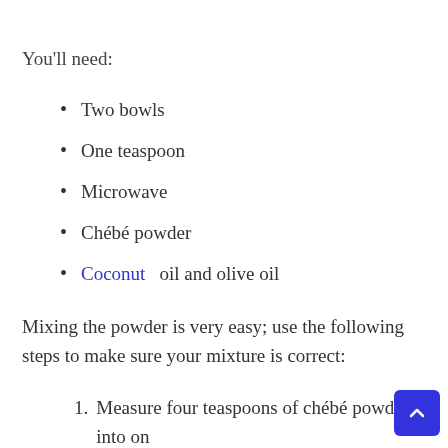You'll need:
Two bowls
One teaspoon
Microwave
Chébé powder
Coconut oil and olive oil
Mixing the powder is very easy; use the following steps to make sure your mixture is correct:
Measure four teaspoons of chébé powder into one your bowls.